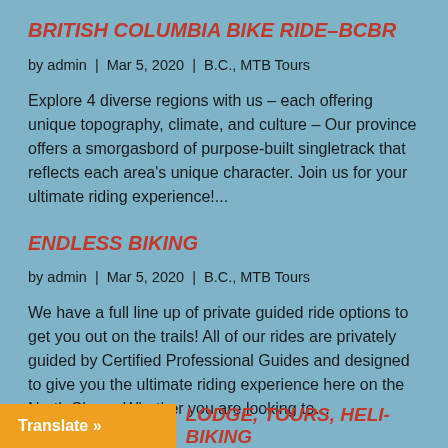BRITISH COLUMBIA BIKE RIDE–BCBR
by admin | Mar 5, 2020 | B.C., MTB Tours
Explore 4 diverse regions with us – each offering unique topography, climate, and culture – Our province offers a smorgasbord of purpose-built singletrack that reflects each area's unique character. Join us for your ultimate riding experience!...
ENDLESS BIKING
by admin | Mar 5, 2020 | B.C., MTB Tours
We have a full line up of private guided ride options to get you out on the trails! All of our rides are privately guided by Certified Professional Guides and designed to give you the ultimate riding experience here on the North Shore. Whether you are looking to…
Translate »
LODGE, TOURS, HELI-BIKING